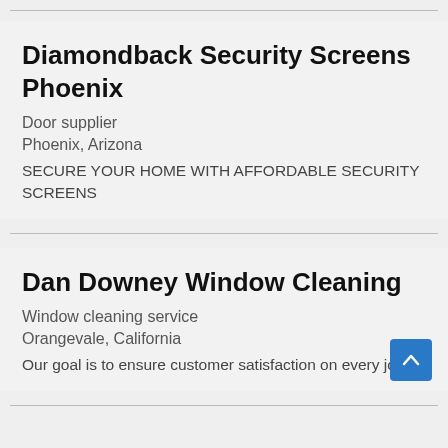Diamondback Security Screens Phoenix
Door supplier
Phoenix, Arizona
SECURE YOUR HOME WITH AFFORDABLE SECURITY SCREENS
Dan Downey Window Cleaning
Window cleaning service
Orangevale, California
Our goal is to ensure customer satisfaction on every job!